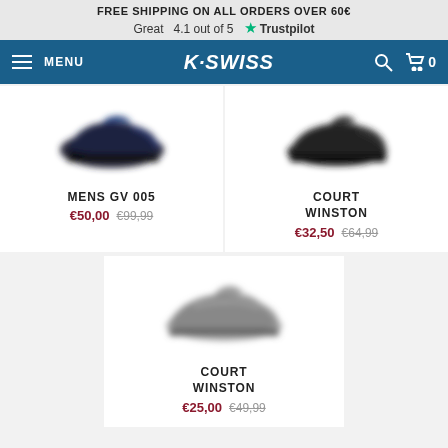FREE SHIPPING ON ALL ORDERS OVER 60€
Great  4.1 out of 5  ★ Trustpilot
MENU  K·SWISS  🔍  🛒 0
[Figure (photo): Blurred photo of a dark blue/black sneaker (K-Swiss Mens GV 005)]
MENS GV 005
€50,00  €99,99
[Figure (photo): Blurred photo of a dark/black sneaker (K-Swiss Court Winston)]
COURT WINSTON
€32,50  €64,99
[Figure (photo): Blurred photo of a grey/white sneaker (K-Swiss Court Winston)]
COURT WINSTON
€25,00  €49,99